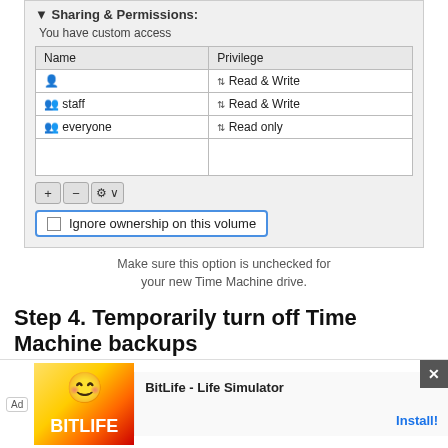[Figure (screenshot): macOS Sharing & Permissions panel showing a table with Name and Privilege columns. Entries: (user icon) Read & Write, staff Read & Write, everyone Read only. Below the table are +, -, and gear/settings buttons. A checkbox labeled 'Ignore ownership on this volume' is highlighted with a blue border.]
Make sure this option is unchecked for your new Time Machine drive.
Step 4. Temporarily turn off Time Machine backups
You don't want Time Machine to update your backups whilst
[Figure (screenshot): Advertisement overlay: BitLife - Life Simulator app ad with Install! button]